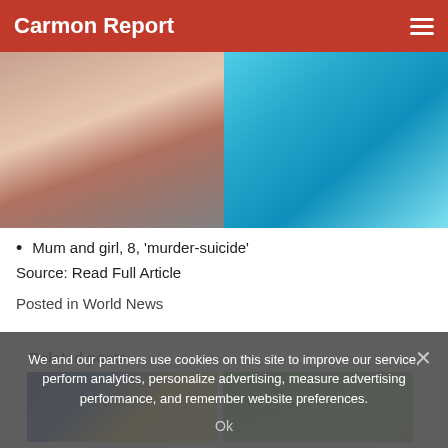Carmon Report
[Figure (photo): Two-panel photo: left shows a young girl in a dark sparkly outfit; right shows a child's hand on a turquoise/teal ruffled dress]
Mum and girl, 8, 'murder-suicide'
Source: Read Full Article
Posted in World News
Related posts
[Figure (photo): Related post thumbnail: woman at podium with US government seal and flags in background]
[Figure (photo): Related post thumbnail: trees and blue sky outdoor scene]
We and our partners use cookies on this site to improve our service, perform analytics, personalize advertising, measure advertising performance, and remember website preferences.